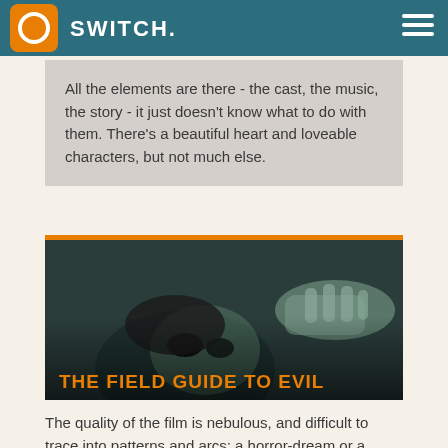SWITCH.
All the elements are there - the cast, the music, the story - it just doesn't know what to do with them. There's a beautiful heart and loveable characters, but not much else.
[Figure (photo): A dark cinematic still showing a person lying down with another hand reaching toward their face, overlaid with title text 'THE FIELD GUIDE TO EVIL' in orange and subtitle 'An uneven assortment of international terrors' in white.]
THE FIELD GUIDE TO EVIL
An uneven assortment of international terrors
The quality of the film is nebulous, and difficult to trace into patterns and arcs; a horror-dream or a